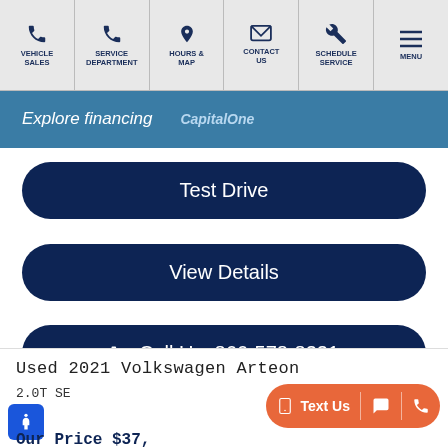VEHICLE SALES | SERVICE DEPARTMENT | HOURS & MAP | CONTACT US | SCHEDULE SERVICE | MENU
Explore financing  CapitalOne
Test Drive
View Details
Call Us: 866-578-8331
Used 2021 Volkswagen Arteon
2.0T SE
Text Us
Our Price $37,000